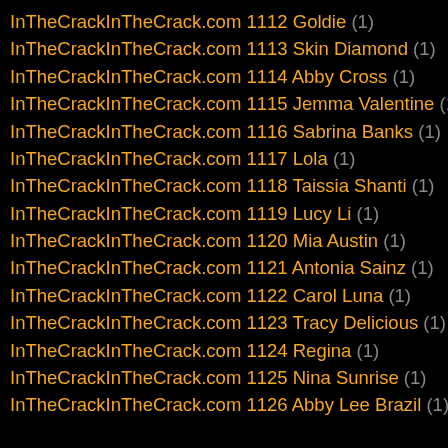InTheCrackInTheCrack.com 1112 Goldie (1)
InTheCrackInTheCrack.com 1113 Skin Diamond (1)
InTheCrackInTheCrack.com 1114 Abby Cross (1)
InTheCrackInTheCrack.com 1115 Jemma Valentine (1)
InTheCrackInTheCrack.com 1116 Sabrina Banks (1)
InTheCrackInTheCrack.com 1117 Lola (1)
InTheCrackInTheCrack.com 1118 Taissia Shanti (1)
InTheCrackInTheCrack.com 1119 Lucy Li (1)
InTheCrackInTheCrack.com 1120 Mia Austin (1)
InTheCrackInTheCrack.com 1121 Antonia Sainz (1)
InTheCrackInTheCrack.com 1122 Carol Luna (1)
InTheCrackInTheCrack.com 1123 Tracy Delicious (1)
InTheCrackInTheCrack.com 1124 Regina (1)
InTheCrackInTheCrack.com 1125 Nina Sunrise (1)
InTheCrackInTheCrack.com 1126 Abby Lee Brazil (1)